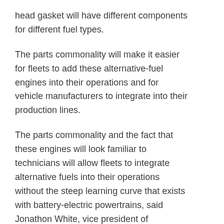head gasket will have different components for different fuel types.
The parts commonality will make it easier for fleets to add these alternative-fuel engines into their operations and for vehicle manufacturers to integrate into their production lines.
The parts commonality and the fact that these engines will look familiar to technicians will allow fleets to integrate alternative fuels into their operations without the steep learning curve that exists with battery-electric powertrains, said Jonathon White, vice president of engineering. “This makes them an economically viable, scalable, and eco-friendly solution that can be adopted today.
“This unique technology approach will allow end users to